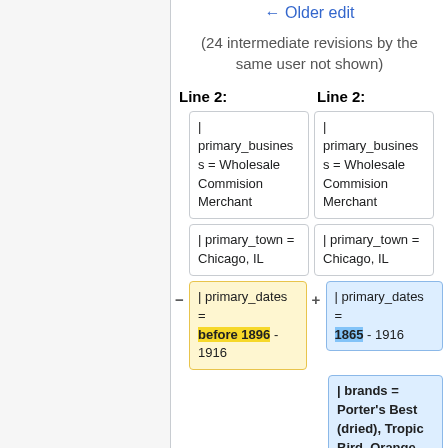← Older edit
(24 intermediate revisions by the same user not shown)
Line 2:   Line 2:
| primary_business = Wholesale Commision Merchant   | primary_business = Wholesale Commision Merchant
| primary_town = Chicago, IL   | primary_town = Chicago, IL
- | primary_dates = before 1896 - 1916   + | primary_dates = 1865 - 1916
+ | brands = Porter's Best (dried), Tropic Bird, Orange